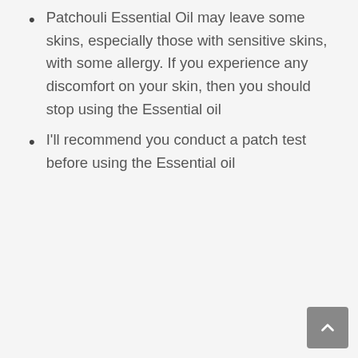Patchouli Essential Oil may leave some skins, especially those with sensitive skins, with some allergy. If you experience any discomfort on your skin, then you should stop using the Essential oil
I'll recommend you conduct a patch test before using the Essential oil